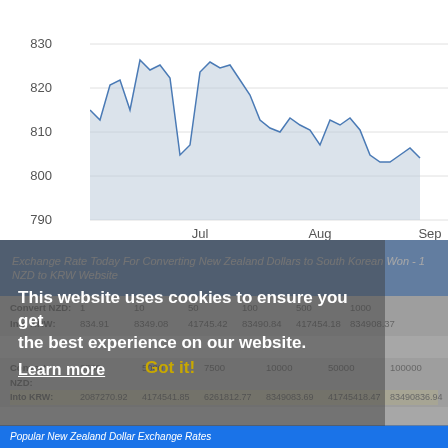[Figure (area-chart): Area/line chart showing NZD to KRW exchange rate declining from ~815 in early July to ~800 by end of chart period, with y-axis labels 790, 800, 810, 820, 830 and x-axis labels Jul, Aug, Sep]
Exchange Rate Today For Converting New Zealand Dollars to South Korean Won - 1 NZD to KRW Website
This website uses cookies to ensure you get the best experience on our website.
Learn more
| Convert NZD: | 1 | 10 | 50 | 100 | 500 | 1000 |
| --- | --- | --- | --- | --- | --- | --- |
| Into KRW: | 834.91 | 8349.08 | 41745.42 | 83490.84 | 417454.18 | 834908.37 |
| Convert NZD: | 2500 | 5000 | 7500 | 10000 | 50000 | 100000 |
| --- | --- | --- | --- | --- | --- | --- |
| Into KRW: | 2087270.92 | 4174541.85 | 6261812.77 | 8349083.69 | 41745418.47 | 83490836.94 |
Got it!
Popular New Zealand Dollar Exchange Rates